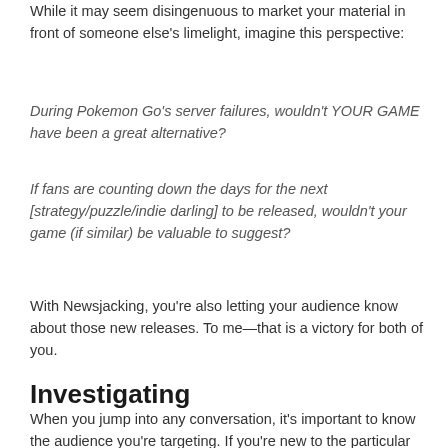While it may seem disingenuous to market your material in front of someone else's limelight, imagine this perspective:
During Pokemon Go's server failures, wouldn't YOUR GAME have been a great alternative?
If fans are counting down the days for the next [strategy/puzzle/indie darling] to be released, wouldn't your game (if similar) be valuable to suggest?
With Newsjacking, you're also letting your audience know about those new releases. To me—that is a victory for both of you.
Investigating
When you jump into any conversation, it's important to know the audience you're targeting. If you're new to the particular community/social media platform, spend time reading the top 10 posts to get a feeling